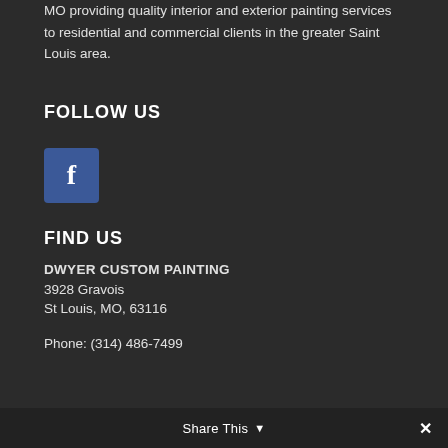MO providing quality interior and exterior painting services to residential and commercial clients in the greater Saint Louis area.
FOLLOW US
[Figure (logo): Facebook icon — blue square with white letter f]
FIND US
DWYER CUSTOM PAINTING
3928 Gravois
St Louis, MO, 63116
Phone: (314) 486-7499
Share This ∨  ✕